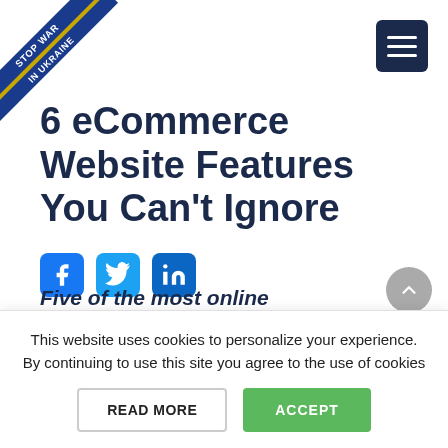[Figure (illustration): Corner banner with 'STOP WAR IN UKRAINE' text in blue and yellow diagonal ribbon]
[Figure (illustration): Dark navy hamburger menu icon button in top right corner]
6 eCommerce Website Features You Can't Ignore
[Figure (illustration): Social media share icons: Facebook (blue f), Twitter (blue bird), LinkedIn (blue in)]
Originally published July 07, 2021 / updated September 28, 2021
7 MIN READ
Five of the most... (partially visible text)
This website uses cookies to personalize your experience. By continuing to use this site you agree to the use of cookies
READ MORE
ACCEPT